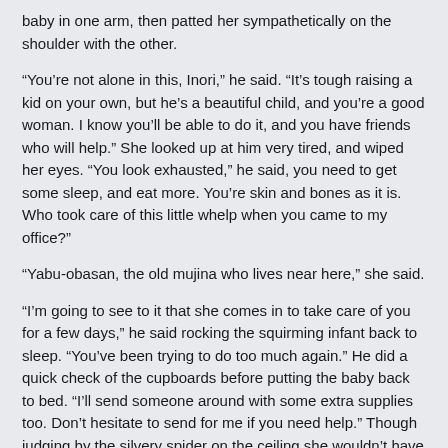baby in one arm, then patted her sympathetically on the shoulder with the other.
“You’re not alone in this, Inori,” he said. “It’s tough raising a kid on your own, but he’s a beautiful child, and you’re a good woman. I know you’ll be able to do it, and you have friends who will help.” She looked up at him very tired, and wiped her eyes. “You look exhausted,” he said, you need to get some sleep, and eat more. You’re skin and bones as it is. Who took care of this little whelp when you came to my office?”
“Yabu-obasan, the old mujina who lives near here,” she said.
“I’m going to see to it that she comes in to take care of you for a few days,” he said rocking the squirming infant back to sleep. “You’ve been trying to do too much again.” He did a quick check of the cupboards before putting the baby back to bed. “I’ll send someone around with some extra supplies too. Don’t hesitate to send for me if you need help.” Though judging by the silvery spider on the ceiling she wouldn’t have to. Takumi would likely be the one to notify him if anything was wrong. Kagekiba put the money away and gently led her to the bedroom she shared with the infant. He waited by the door till she lay down before he left.
He made sure the old mujina went to help Inori before heading back to headquarters, where he wrote up a report on Takumi for the Morrigan.